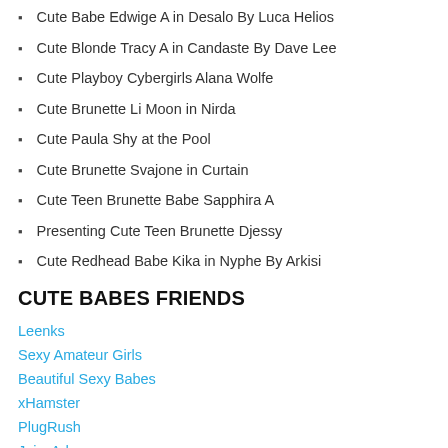Cute Babe Edwige A in Desalo By Luca Helios
Cute Blonde Tracy A in Candaste By Dave Lee
Cute Playboy Cybergirls Alana Wolfe
Cute Brunette Li Moon in Nirda
Cute Paula Shy at the Pool
Cute Brunette Svajone in Curtain
Cute Teen Brunette Babe Sapphira A
Presenting Cute Teen Brunette Djessy
Cute Redhead Babe Kika in Nyphe By Arkisi
CUTE BABES FRIENDS
Leenks
Sexy Amateur Girls
Beautiful Sexy Babes
xHamster
PlugRush
JuicyAds